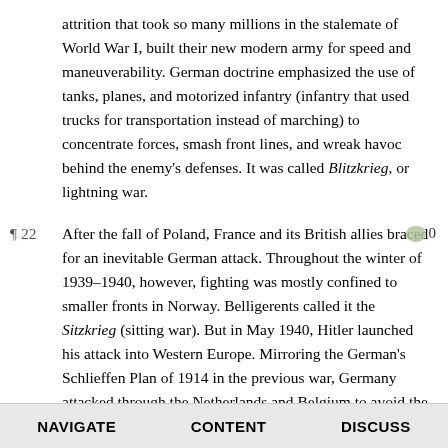attrition that took so many millions in the stalemate of World War I, built their new modern army for speed and maneuverability. German doctrine emphasized the use of tanks, planes, and motorized infantry (infantry that used trucks for transportation instead of marching) to concentrate forces, smash front lines, and wreak havoc behind the enemy's defenses. It was called Blitzkrieg, or lightning war.
After the fall of Poland, France and its British allies braced for an inevitable German attack. Throughout the winter of 1939–1940, however, fighting was mostly confined to smaller fronts in Norway. Belligerents called it the Sitzkrieg (sitting war). But in May 1940, Hitler launched his attack into Western Europe. Mirroring the German's Schlieffen Plan of 1914 in the previous war, Germany attacked through the Netherlands and Belgium to avoid the prepared French defenses along the French-German border. Poland had fallen in three weeks; France lasted only a few weeks more. By June, Hitler was posing for photographs in front of the Eiffel Tower. Germany split France in half. Germany occupied and governed the north, and the south would be ruled under a puppet government in Vichy.
NAVIGATE   CONTENT   DISCUSS